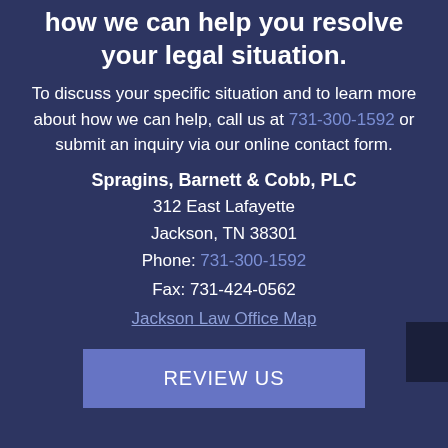how we can help you resolve your legal situation.
To discuss your specific situation and to learn more about how we can help, call us at 731-300-1592 or submit an inquiry via our online contact form.
Spragins, Barnett & Cobb, PLC
312 East Lafayette
Jackson, TN 38301
Phone: 731-300-1592
Fax: 731-424-0562
Jackson Law Office Map
REVIEW US